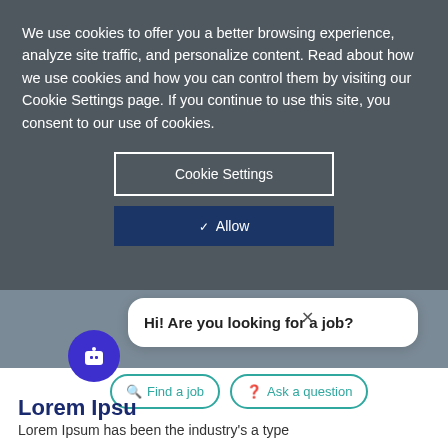We use cookies to offer you a better browsing experience, analyze site traffic, and personalize content. Read about how we use cookies and how you can control them by visiting our Cookie Settings page. If you continue to use this site, you consent to our use of cookies.
Cookie Settings
✓ Allow
Hi! Are you looking for a job?
Find a job
Ask a question
Lorem Ipsu
Lorem Ipsum has been the industry's a type